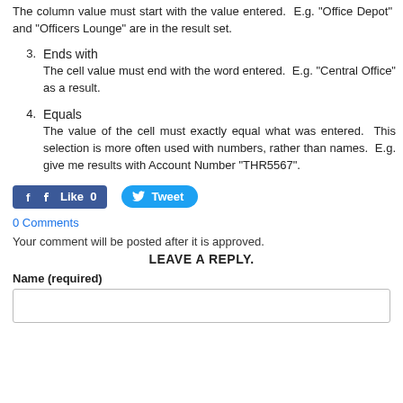The column value must start with the value entered.  E.g. "Office Depot" and "Officers Lounge" are in the result set.
3. Ends with
The cell value must end with the word entered.  E.g. "Central Office" as a result.
4. Equals
The value of the cell must exactly equal what was entered.  This selection is more often used with numbers, rather than names.  E.g. give me results with Account Number "THR5567".
[Figure (other): Social sharing buttons: Facebook Like (0) and Twitter Tweet]
0 Comments
Your comment will be posted after it is approved.
LEAVE A REPLY.
Name (required)